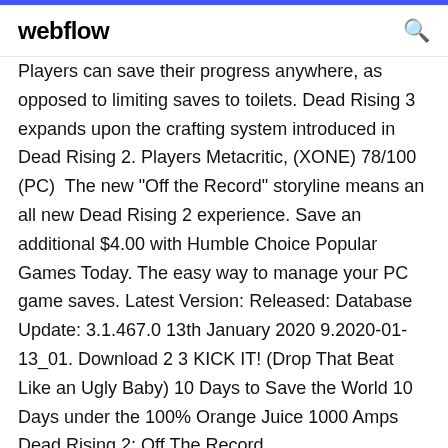webflow
Players can save their progress anywhere, as opposed to limiting saves to toilets. Dead Rising 3 expands upon the crafting system introduced in Dead Rising 2. Players Metacritic, (XONE) 78/100 (PC)  The new "Off the Record" storyline means an all new Dead Rising 2 experience. Save an additional $4.00 with Humble Choice Popular Games Today. The easy way to manage your PC game saves. Latest Version: Released: Database Update: 3.1.467.0 13th January 2020 9.2020-01-13_01. Download 2 3 KICK IT! (Drop That Beat Like an Ugly Baby) 10 Days to Save the World 10 Days under the 100% Orange Juice 1000 Amps Dead Rising 2: Off The Record